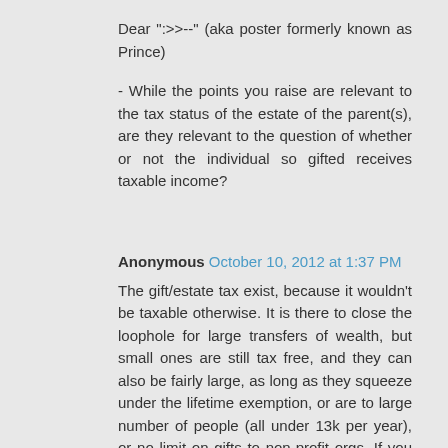Dear ":>>--" (aka poster formerly known as Prince)

- While the points you raise are relevant to the tax status of the estate of the parent(s), are they relevant to the question of whether or not the individual so gifted receives taxable income?
Anonymous October 10, 2012 at 1:37 PM

The gift/estate tax exist, because it wouldn't be taxable otherwise. It is there to close the loophole for large transfers of wealth, but small ones are still tax free, and they can also be fairly large, as long as they squeeze under the lifetime exemption, or are to large number of people (all under 13k per year), or no limit on gifts to non-profit orgs. If you are married, then your married parents could give you and your spouse up to 52k a year without touching the lifetime exemption. They still must file a form with IRS